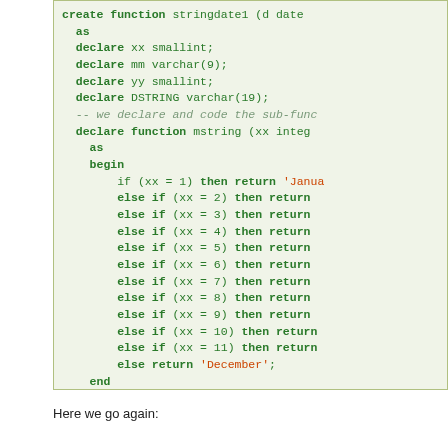[Figure (screenshot): Code block showing SQL/PL function stringdate1 with green background, containing declare statements, a nested mstring function with if-else chain returning month names, and begin/end block with DSTRING operations.]
Here we go again: